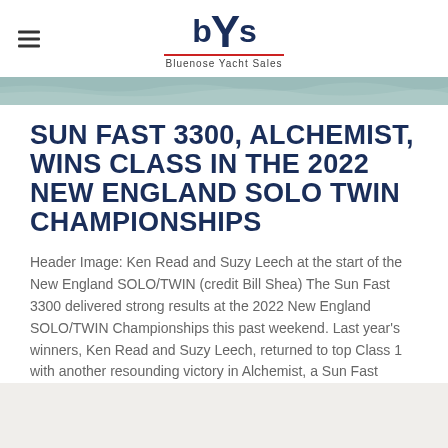bYS Bluenose Yacht Sales
[Figure (photo): Header image of water/ocean scene, slightly blurred blue-green tones]
SUN FAST 3300, ALCHEMIST, WINS CLASS IN THE 2022 NEW ENGLAND SOLO TWIN CHAMPIONSHIPS
Header Image: Ken Read and Suzy Leech at the start of the New England SOLO/TWIN (credit Bill Shea) The Sun Fast 3300 delivered strong results at the 2022 New England SOLO/TWIN Championships this past weekend. Last year's winners, Ken Read and Suzy Leech, returned to top Class 1 with another resounding victory in Alchemist, a Sun Fast